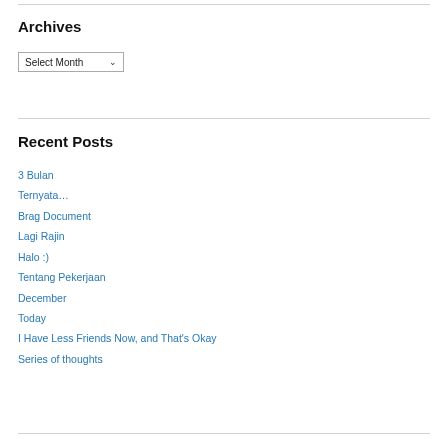Archives
Select Month
Recent Posts
3 Bulan
Ternyata…
Brag Document
Lagi Rajin
Halo :)
Tentang Pekerjaan
December
Today
I Have Less Friends Now, and That's Okay
Series of thoughts